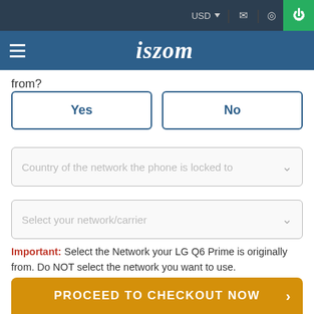iszom — USD header bar with icons
from?
Yes | No
Country of the network the phone is locked to
Select your network/carrier
Important: Select the Network your LG Q6 Prime is originally from. Do NOT select the network you want to use.
I accept the Terms & Conditions
PROCEED TO CHECKOUT NOW